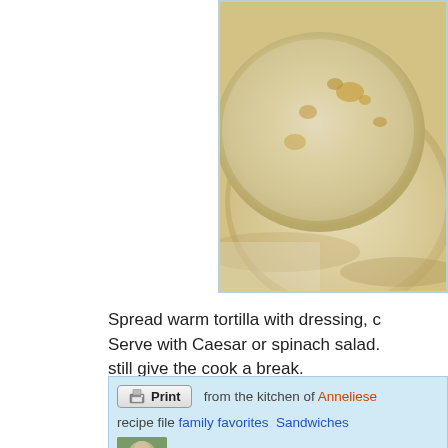[Figure (photo): Close-up photo of warm flour tortillas stacked on a surface, showing golden-brown spots, viewed from upper right corner area of the page]
Spread warm tortilla with dressing, c... Serve with Caesar or spinach salad. still give the cook a break.
Print   from the kitchen of Anneliese
recipe file  family favorites  Sandwiches
Anneliese